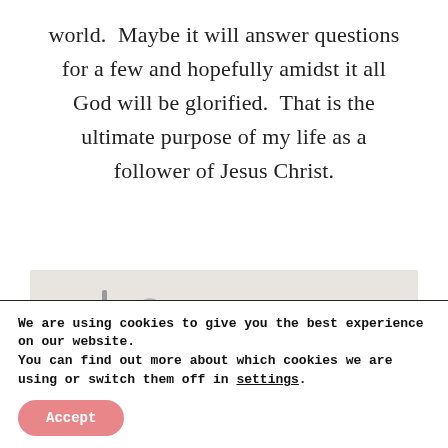world.  Maybe it will answer questions for a few and hopefully amidst it all God will be glorified.  That is the ultimate purpose of my life as a follower of Jesus Christ.
[Figure (photo): Close-up photo of glasses frames and various cables or tools clustered together, with a light background.]
We are using cookies to give you the best experience on our website.
You can find out more about which cookies we are using or switch them off in settings.